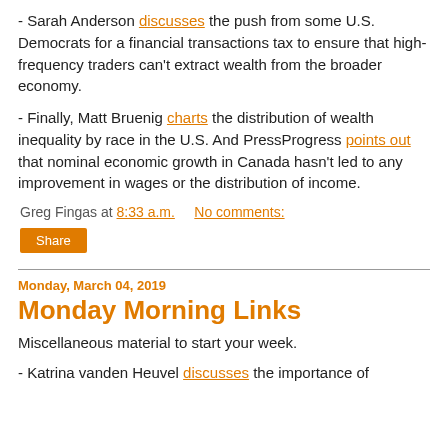- Sarah Anderson discusses the push from some U.S. Democrats for a financial transactions tax to ensure that high-frequency traders can't extract wealth from the broader economy.
- Finally, Matt Bruenig charts the distribution of wealth inequality by race in the U.S. And PressProgress points out that nominal economic growth in Canada hasn't led to any improvement in wages or the distribution of income.
Greg Fingas at 8:33 a.m.   No comments:
Share
Monday, March 04, 2019
Monday Morning Links
Miscellaneous material to start your week.
- Katrina vanden Heuvel discusses the importance of